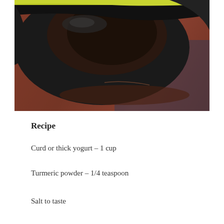[Figure (photo): Close-up photo of a dark/black ceramic bowl or pot on a reddish-brown wooden surface, with a yellowish-green rim visible at the top. The bowl appears to be a cooking vessel photographed from above at an angle.]
Recipe
Curd or thick yogurt – 1 cup
Turmeric powder – 1/4 teaspoon
Salt to taste